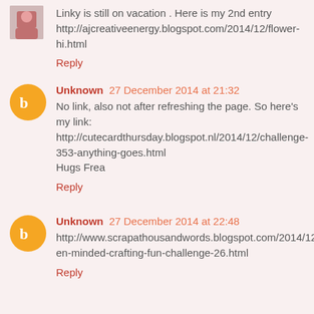Linky is still on vacation . Here is my 2nd entry http://ajcreativeenergy.blogspot.com/2014/12/flower-hi.html
Reply
Unknown 27 December 2014 at 21:32
No link, also not after refreshing the page. So here's my link: http://cutecardthursday.blogspot.nl/2014/12/challenge-353-anything-goes.html Hugs Frea
Reply
Unknown 27 December 2014 at 22:48
http://www.scrapathousandwords.blogspot.com/2014/12/open-minded-crafting-fun-challenge-26.html
Reply